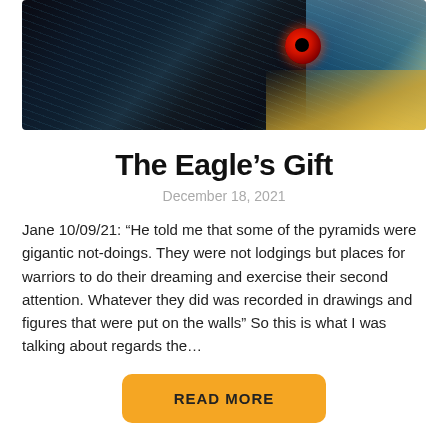[Figure (photo): Close-up photo of a black eagle with a vivid red eye, black iridescent feathers with blue tints, and golden/yellow coloring near the beak area. A light blue sky or water background is visible on the right side.]
The Eagle's Gift
December 18, 2021
Jane 10/09/21: "He told me that some of the pyramids were gigantic not-doings. They were not lodgings but places for warriors to do their dreaming and exercise their second attention. Whatever they did was recorded in drawings and figures that were put on the walls" So this is what I was talking about regards the…
READ MORE